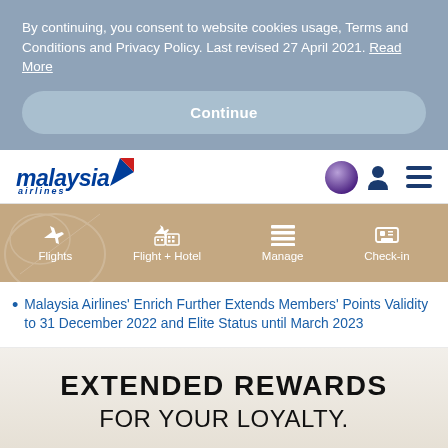By continuing, you consent to website cookies usage, Terms and Conditions and Privacy Policy. Last revised 27 April 2021. Read More
Continue
[Figure (logo): Malaysia Airlines logo with red tail fin graphic and oneworld globe button, plus user account and hamburger menu icons]
[Figure (infographic): Malaysia Airlines navigation bar with gold/tan background showing Flights, Flight + Hotel, Manage, and Check-in menu items with icons]
Malaysia Airlines' Enrich Further Extends Members' Points Validity to 31 December 2022 and Elite Status until March 2023
EXTENDED REWARDS FOR YOUR LOYALTY.